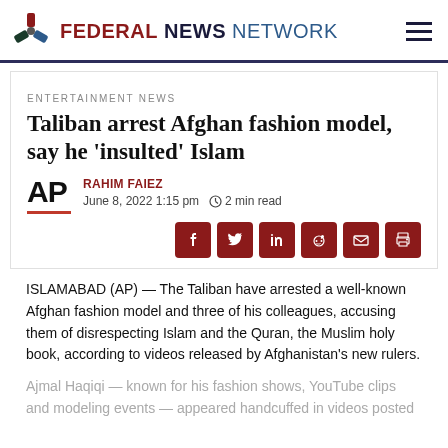FEDERAL NEWS NETWORK
ENTERTAINMENT NEWS
Taliban arrest Afghan fashion model, say he 'insulted' Islam
RAHIM FAIEZ
June 8, 2022 1:15 pm   2 min read
ISLAMABAD (AP) — The Taliban have arrested a well-known Afghan fashion model and three of his colleagues, accusing them of disrespecting Islam and the Quran, the Muslim holy book, according to videos released by Afghanistan's new rulers.
Ajmal Haqiqi — known for his fashion shows, YouTube clips and modeling events — appeared handcuffed in videos posted